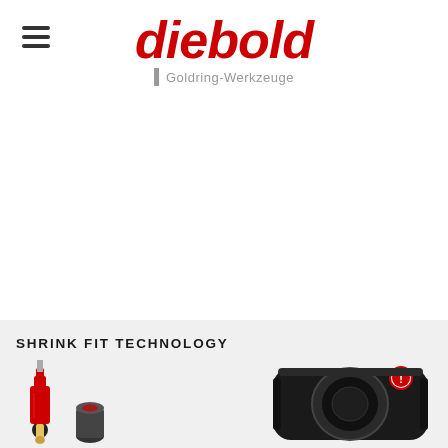[Figure (logo): Diebold Goldring-Werkzeuge logo with hamburger menu icon on the left. The word 'diebold' is displayed in large bold italic red font. Below it, a gray vertical bar separator followed by 'Goldring-Werkzeuge' in gray text.]
[Figure (photo): Bottom section showing 'SHRINK FIT TECHNOLOGY' text label and two product photos: a red shrink fit tool/chuck on the left and a black circular shrink fit device on the right.]